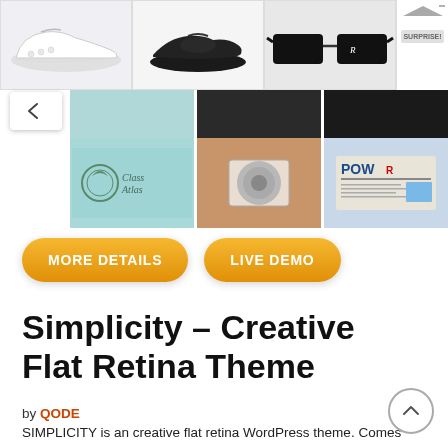[Figure (screenshot): Ad banner showing white sneakers, black slides, black sunglasses, and a sidebar with ad icons]
[Figure (screenshot): Gallery row showing Class Atlas logo on teal background, a smartphone photo, and a newspaper/magazine]
[Figure (other): Back/up navigation button with chevron]
[Figure (other): MORE DETAILS and LIVE DEMO orange pill buttons]
Simplicity – Creative Flat Retina Theme
by QODE
SIMPLICITY is an creative flat retina WordPress theme. Comes with awesome features like smooth loading